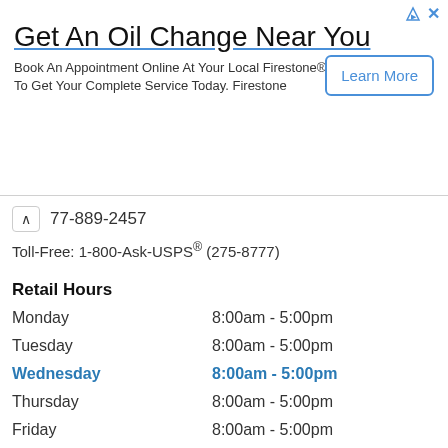[Figure (infographic): Advertisement banner for Firestone oil change service with 'Learn More' button]
77-889-2457
Toll-Free: 1-800-Ask-USPS® (275-8777)
Retail Hours
Monday  8:00am - 5:00pm
Tuesday  8:00am - 5:00pm
Wednesday  8:00am - 5:00pm
Thursday  8:00am - 5:00pm
Friday  8:00am - 5:00pm
Saturday  9:00am - 3:00pm
Sunday  Closed
Lobby Hours
PO Box Access Available
Monday  24 hours
Tuesday  24 hours